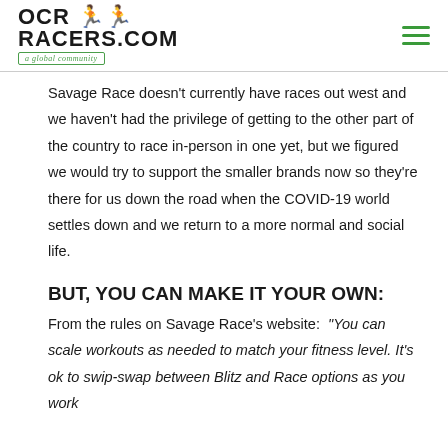OCRRACERS.COM — a global community
Savage Race doesn't currently have races out west and we haven't had the privilege of getting to the other part of the country to race in-person in one yet, but we figured we would try to support the smaller brands now so they're there for us down the road when the COVID-19 world settles down and we return to a more normal and social life.
BUT, YOU CAN MAKE IT YOUR OWN:
From the rules on Savage Race's website:  "You can scale workouts as needed to match your fitness level. It's ok to swip-swap between Blitz and Race options as you work